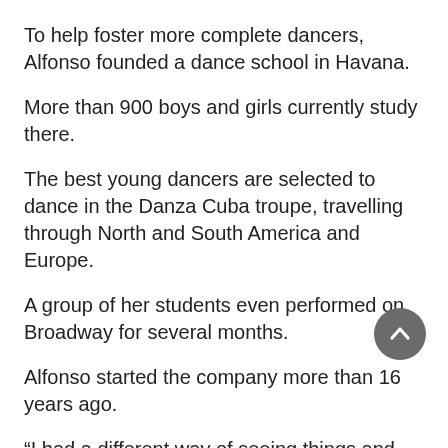To help foster more complete dancers, Alfonso founded a dance school in Havana.
More than 900 boys and girls currently study there.
The best young dancers are selected to dance in the Danza Cuba troupe, travelling through North and South America and Europe.
A group of her students even performed on Broadway for several months.
Alfonso started the company more than 16 years ago.
“I had a different way of seeing things and very distinct ideas about what I wanted to do,” she said.